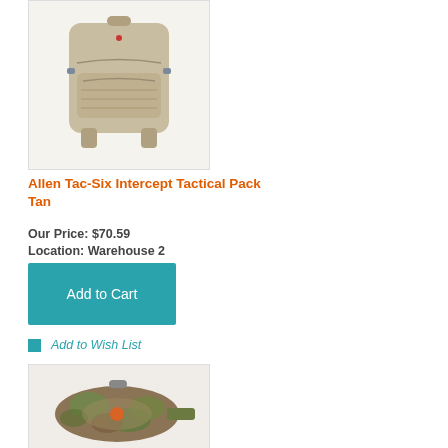[Figure (photo): Tan tactical backpack (Allen Tac-Six Intercept) with MOLLE webbing, multiple compartments, and shoulder straps]
Allen Tac-Six Intercept Tactical Pack Tan
Our Price: $70.59
Location: Warehouse 2
Add to Cart
Add to Wish List
[Figure (photo): Camouflage fanny pack / hip pack with realtree camo pattern and olive green strap]